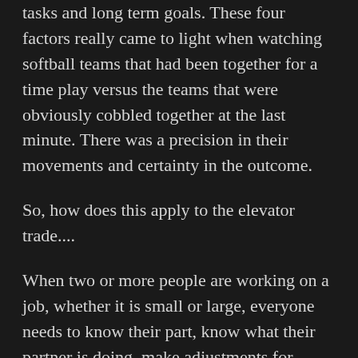tasks and long term goals. These four factors really came to light when watching softball teams that had been together for a time play versus the teams that were obviously cobbled together at the last minute. There was a precision in their movements and certainty in the outcome.
So, how does this apply to the elevator trade....
When two or more people are working on a job, whether it is small or large, everyone needs to know their part, know what their partner is doing, make adjustments for changing work conditions and be focused on achieving the best outcome. This does take time working together to learn how your partner works, how